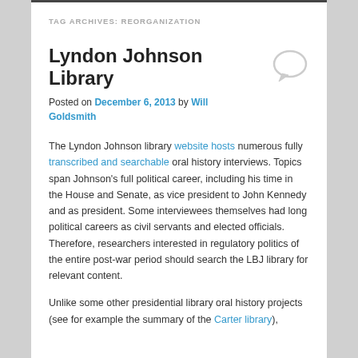TAG ARCHIVES: REORGANIZATION
Lyndon Johnson Library
Posted on December 6, 2013 by Will Goldsmith
The Lyndon Johnson library website hosts numerous fully transcribed and searchable oral history interviews. Topics span Johnson's full political career, including his time in the House and Senate, as vice president to John Kennedy and as president. Some interviewees themselves had long political careers as civil servants and elected officials. Therefore, researchers interested in regulatory politics of the entire post-war period should search the LBJ library for relevant content.
Unlike some other presidential library oral history projects (see for example the summary of the Carter library),